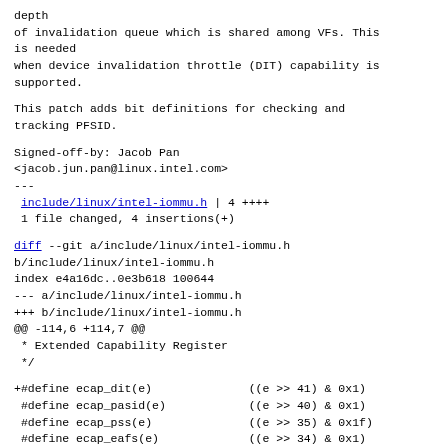depth
of invalidation queue which is shared among VFs. This is needed
when device invalidation throttle (DIT) capability is supported.
This patch adds bit definitions for checking and tracking PFSID.
Signed-off-by: Jacob Pan
<jacob.jun.pan@linux.intel.com>
---
 include/linux/intel-iommu.h | 4 ++++
 1 file changed, 4 insertions(+)
diff --git a/include/linux/intel-iommu.h b/include/linux/intel-iommu.h
index e4a16dc..0e3b618 100644
--- a/include/linux/intel-iommu.h
+++ b/include/linux/intel-iommu.h
@@ -114,6 +114,7 @@
 * Extended Capability Register
 */
+#define ecap_dit(e)              ((e >> 41) & 0x1)
 #define ecap_pasid(e)            ((e >> 40) & 0x1)
 #define ecap_pss(e)              ((e >> 35) & 0x1f)
 #define ecap_eafs(e)             ((e >> 34) & 0x1)
@@ -284,6 +285,7 @@ enum {
 #define QI_DEV_IOTLB_SID(sid)  ((u64)((sid) & 0xffff)